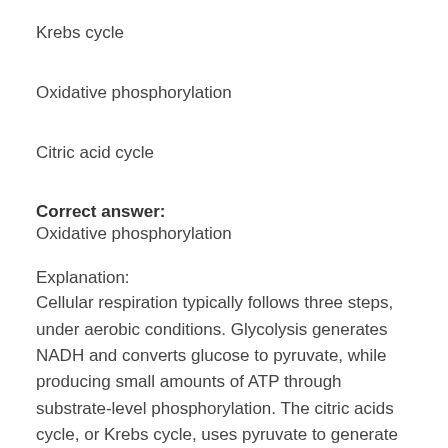Krebs cycle
Oxidative phosphorylation
Citric acid cycle
Correct answer:
Oxidative phosphorylation
Explanation:
Cellular respiration typically follows three steps, under aerobic conditions. Glycolysis generates NADH and converts glucose to pyruvate, while producing small amounts of ATP through substrate-level phosphorylation. The citric acids cycle, or Krebs cycle, uses pyruvate to generate more NADH and